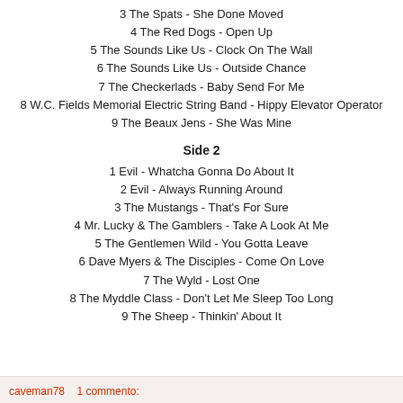3 The Spats - She Done Moved
4 The Red Dogs - Open Up
5 The Sounds Like Us - Clock On The Wall
6 The Sounds Like Us - Outside Chance
7 The Checkerlads - Baby Send For Me
8 W.C. Fields Memorial Electric String Band - Hippy Elevator Operator
9 The Beaux Jens - She Was Mine
Side 2
1 Evil - Whatcha Gonna Do About It
2 Evil - Always Running Around
3 The Mustangs - That's For Sure
4 Mr. Lucky & The Gamblers - Take A Look At Me
5 The Gentlemen Wild - You Gotta Leave
6 Dave Myers & The Disciples - Come On Love
7 The Wyld - Lost One
8 The Myddle Class - Don't Let Me Sleep Too Long
9 The Sheep - Thinkin' About It
caveman78    1 commento: